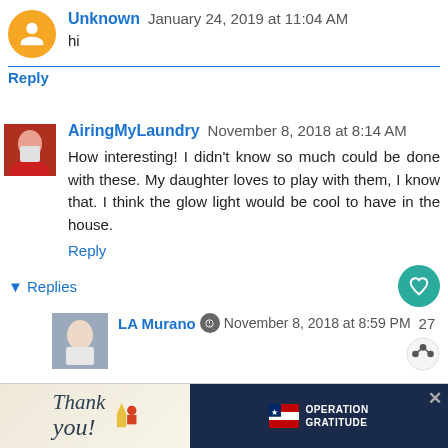Unknown  January 24, 2019 at 11:04 AM
hi
Reply
AiringMyLaundry  November 8, 2018 at 8:14 AM
How interesting! I didn't know so much could be done with these. My daughter loves to play with them, I know that. I think the glow light would be cool to have in the house.
Reply
▼ Replies
LA Murano  November 8, 2018 at 8:59 PM  27
I definitely think orbeez are more of a girl toy boys got bored quick but my daughter played
[Figure (photo): Advertisement banner with 'Thank you!' text and Operation Gratitude image with firefighters/military personnel]